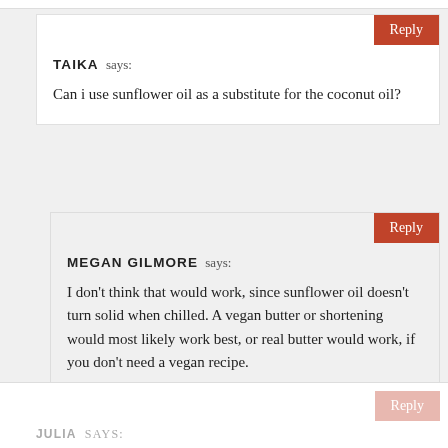TAIKA says: Can i use sunflower oil as a substitute for the coconut oil?
MEGAN GILMORE says: I don't think that would work, since sunflower oil doesn't turn solid when chilled. A vegan butter or shortening would most likely work best, or real butter would work, if you don't need a vegan recipe.
JULIA says: